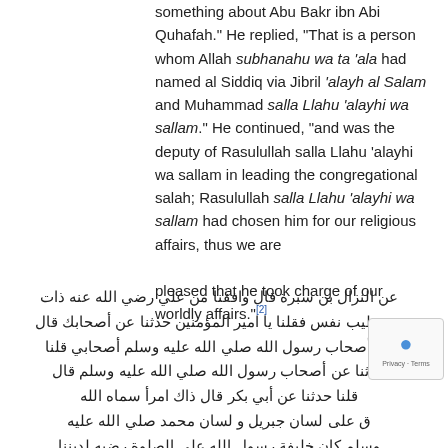something about Abu Bakr ibn Abi Quhafah." He replied, "That is a person whom Allah subhanahu wa ta 'ala had named al Siddiq via Jibril 'alayh al Salam and Muhammad salla Llahu 'alayhi wa sallam." He continued, "and was the deputy of Rasulullah salla Llahu 'alayhi wa sallam in leading the congregational salah; Rasulullah salla Llahu 'alayhi wa sallam had chosen him for our religious affairs, thus we are pleased that he took charge of our worldly affairs."[2]
عن النزال بن سبرة قال وافقنا من علي رضي الله عنه ذات يوم طيب نفس فقلنا يا امير المؤمنين حدثنا عن أصحابك قال كل أصحاب رسول الله صلي الله عليه وسلم أصحابي قلنا حدثنا عن أصحاب رسول الله صلي الله عليه وسلم قال قلنا حدثنا عن أبي بكر قال ذاك امرأ سماه الله ق على لسان جبريل و لسان محمد صلي الله عليه وسلم كان خليفة رسول الله على الصلوة رضيه لديننا